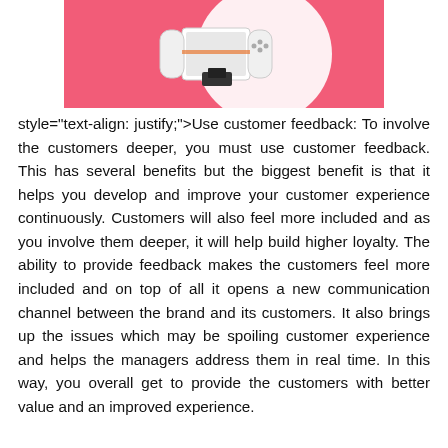[Figure (photo): Gaming console (Nintendo Switch with Joy-Cons and dock) displayed on a pink/coral background with a white circular backdrop]
style="text-align: justify;">Use customer feedback: To involve the customers deeper, you must use customer feedback. This has several benefits but the biggest benefit is that it helps you develop and improve your customer experience continuously. Customers will also feel more included and as you involve them deeper, it will help build higher loyalty. The ability to provide feedback makes the customers feel more included and on top of all it opens a new communication channel between the brand and its customers. It also brings up the issues which may be spoiling customer experience and helps the managers address them in real time. In this way, you overall get to provide the customers with better value and an improved experience.